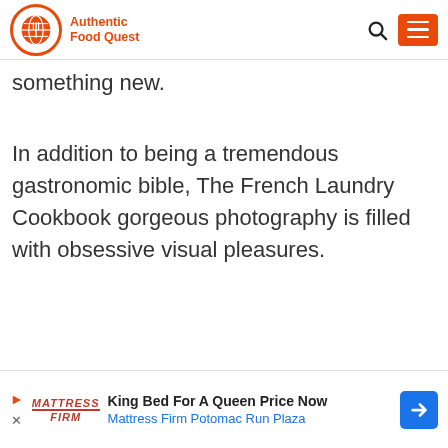Authentic Food Quest
something new.
In addition to being a tremendous gastronomic bible, The French Laundry Cookbook gorgeous photography is filled with obsessive visual pleasures.
[Figure (other): Advertisement banner: King Bed For A Queen Price Now - Mattress Firm Potomac Run Plaza]